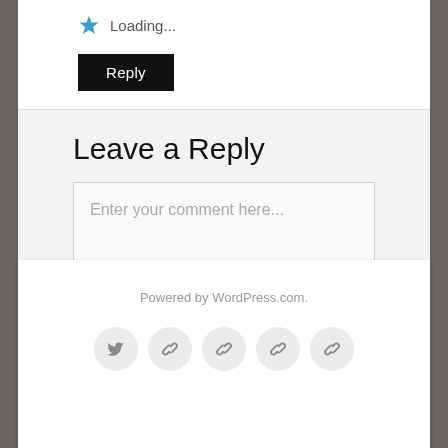[Figure (screenshot): Star icon (blue) followed by Loading... text]
Reply
Leave a Reply
Enter your comment here...
Powered by WordPress.com.
[Figure (infographic): Social media icons: Twitter bird, and four chain/link icons in gray circles]